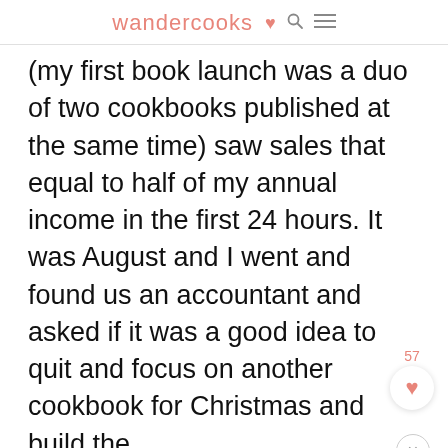wandercooks
(my first book launch was a duo of two cookbooks published at the same time) saw sales that equal to half of my annual income in the first 24 hours. It was August and I went and found us an accountant and asked if it was a good idea to quit and focus on another cookbook for Christmas and build the
website up.